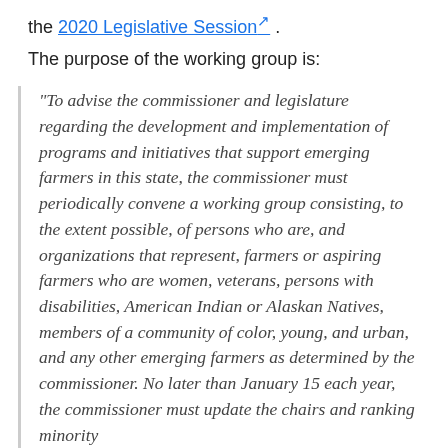the 2020 Legislative Session .
The purpose of the working group is:
"To advise the commissioner and legislature regarding the development and implementation of programs and initiatives that support emerging farmers in this state, the commissioner must periodically convene a working group consisting, to the extent possible, of persons who are, and organizations that represent, farmers or aspiring farmers who are women, veterans, persons with disabilities, American Indian or Alaskan Natives, members of a community of color, young, and urban, and any other emerging farmers as determined by the commissioner. No later than January 15 each year, the commissioner must update the chairs and ranking minority